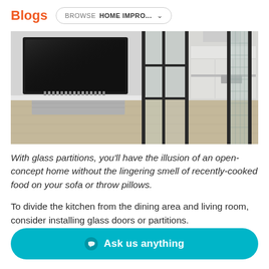Blogs  BROWSE HOME IMPRO... ▾
[Figure (photo): Interior room with glass partition walls dividing a living area with a wall-mounted TV from a kitchen with white cabinetry; light wood floors.]
With glass partitions, you'll have the illusion of an open-concept home without the lingering smell of recently-cooked food on your sofa or throw pillows.
To divide the kitchen from the dining area and living room, consider installing glass doors or partitions.
Ask us anything